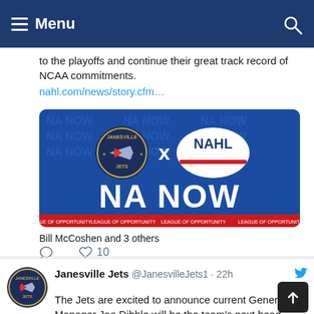Menu
to the playoffs and continue their great track record of NCAA commitments.
nahl.com/news/story.cfm…
[Figure (photo): Janesville Jets x NAHL 'NA NOW' promotional graphic on blue background with repeated watermark text. Bottom strip reads 'LEAGUE OF OPPORTUNITY' repeated four times.]
Bill McCoshen and 3 others
♡ 10
Janesville Jets @JanesvilleJets1 · 22h
The Jets are excited to announce current General Manager Joe Dibble will be the team's next head coach. Welcome back, Joe